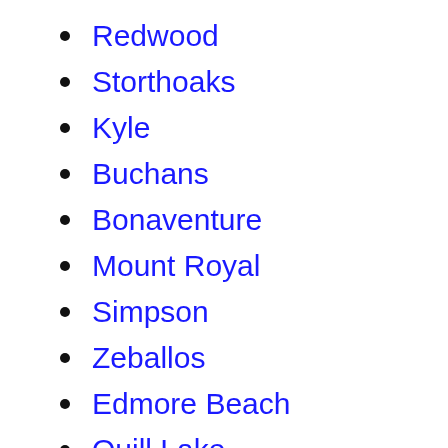Redwood
Storthoaks
Kyle
Buchans
Bonaventure
Mount Royal
Simpson
Zeballos
Edmore Beach
Quill Lake
St. Elmo, Muskoka District